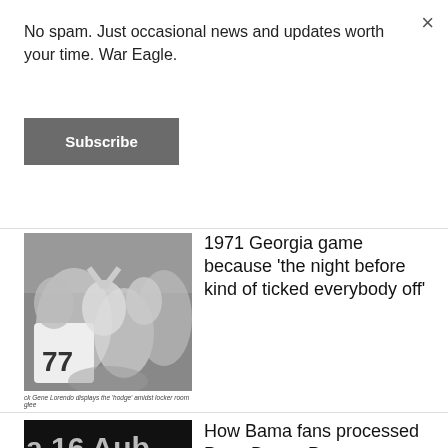No spam. Just occasional news and updates worth your time. War Eagle.
Subscribe
×
1971 Georgia game because 'the night before kind of ticked everybody off'
ck Gene Lorendo displays the 'hodge' amidst locker room glee
[Figure (photo): Black and white photo of football players celebrating, player number 77 visible]
How Bama fans processed Punt, Bama, Punt
[Figure (photo): Black scoreboard showing 'a 16  Aub' and 'nta Claus']